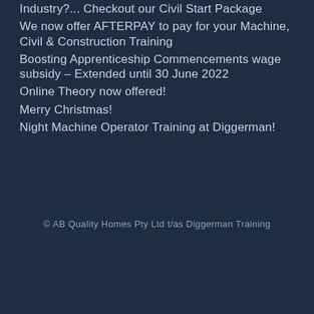Industry?... Checkout our Civil Start Package
We now offer AFTERPAY to pay for your Machine, Civil & Construction Training
Boosting Apprenticeship Commencements wage subsidy – Extended until 30 June 2022
Online Theory now offered!
Merry Christmas!
Night Machine Operator Training at Diggerman!
© AB Quality Homes Pty Ltd t/as Diggerman Training